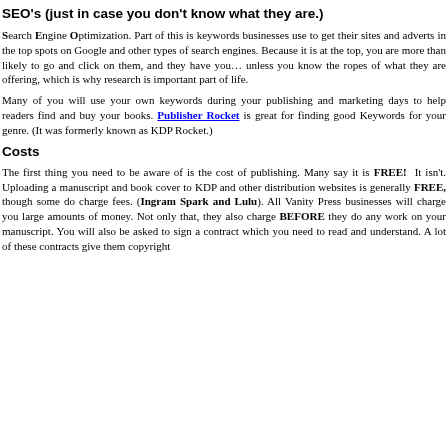SEO's (just in case you don't know what they are.)
Search Engine Optimization. Part of this is keywords businesses use to get their sites and adverts in the top spots on Google and other types of search engines. Because it is at the top, you are more than likely to go and click on them, and they have you… unless you know the ropes of what they are offering, which is why research is important part of life.
Many of you will use your own keywords during your publishing and marketing days to help readers find and buy your books. Publisher Rocket is great for finding good Keywords for your genre. (It was formerly known as KDP Rocket.)
Costs
The first thing you need to be aware of is the cost of publishing. Many say it is FREE! It isn't. Uploading a manuscript and book cover to KDP and other distribution websites is generally FREE, though some do charge fees. (Ingram Spark and Lulu). All Vanity Press businesses will charge you large amounts of money. Not only that, they also charge BEFORE they do any work on your manuscript. You will also be asked to sign a contract which you need to read and understand. A lot of these contracts give them copyright